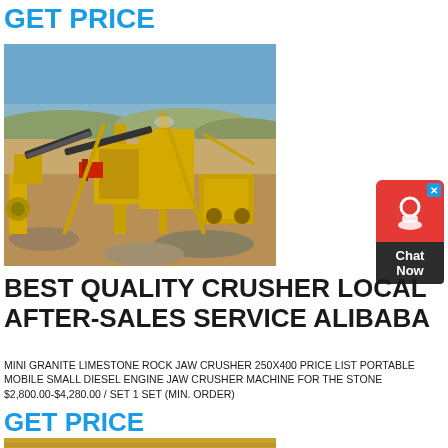GET PRICE
[Figure (photo): Aerial view of a quarry/mining site with yellow jaw crusher machines and conveyor belts on sandy terrain under blue sky]
[Figure (other): Chat Now widget with red bubble showing headset icon and dark label saying Chat Now with a close X button]
BEST QUALITY CRUSHER LOCAL AFTER-SALES SERVICE ALIBABA
MINI GRANITE LIMESTONE ROCK JAW CRUSHER 250X400 PRICE LIST PORTABLE MOBILE SMALL DIESEL ENGINE JAW CRUSHER MACHINE FOR THE STONE $2,800.00-$4,280.00 / SET 1 SET (MIN. ORDER)
GET PRICE
[Figure (photo): Partial view of a sandy/rocky ground surface, brownish-orange color]